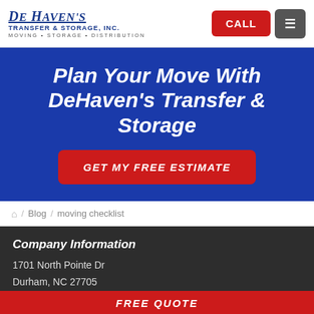De Haven's Transfer & Storage, Inc. MOVING • STORAGE • DISTRIBUTION
Plan Your Move With DeHaven's Transfer & Storage
GET MY FREE ESTIMATE
Blog / moving checklist
Company Information
1701 North Pointe Dr
Durham, NC 27705
FREE QUOTE